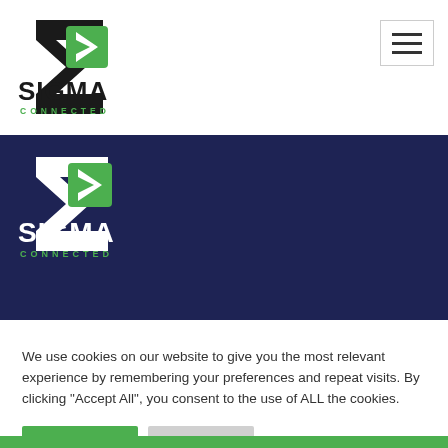[Figure (logo): Sigma Connected logo in header - dark sigma/arrow shape with green square, SIGMA in bold dark text, CONNECTED in green spaced text]
[Figure (logo): Hamburger menu icon - three horizontal lines in a bordered box]
[Figure (logo): Sigma Connected logo in dark navy banner - white sigma/arrow shape with green square, SIGMA in bold white text, CONNECTED in green spaced text]
We use cookies on our website to give you the most relevant experience by remembering your preferences and repeat visits. By clicking “Accept All”, you consent to the use of ALL the cookies.
Accept All
Reject All